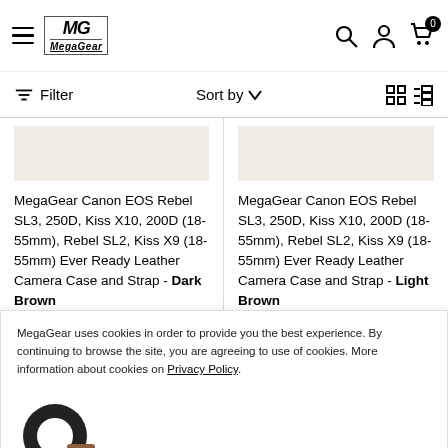MegaGear — navigation header with menu, logo, search, account, cart (0)
Filter   Sort by ▼   (grid/list view icons)
MegaGear Canon EOS Rebel SL3, 250D, Kiss X10, 200D (18-55mm), Rebel SL2, Kiss X9 (18-55mm) Ever Ready Leather Camera Case and Strap - Dark Brown
MegaGear Canon EOS Rebel SL3, 250D, Kiss X10, 200D (18-55mm), Rebel SL2, Kiss X9 (18-55mm) Ever Ready Leather Camera Case and Strap - Light Brown
MegaGear uses cookies in order to provide you the best experience. By continuing to browse the site, you are agreeing to use of cookies. More information about cookies on Privacy Policy.
installments of $13.74 with
installments of $13.74 with